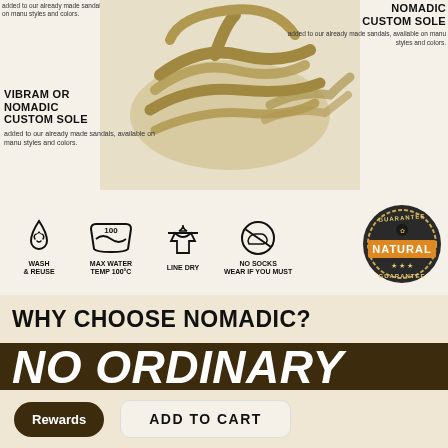added to our already made sandals, available on many styles and colors.
NOMADIC CUSTOM SOLE
added to our already made sandals, available on many styles and colors.
VIBRAM OR NOMADIC CUSTOM SOLE
added to our already made sandals, available on many styles and colors.
[Figure (photo): Rope sandals photographed from above on a light background]
[Figure (infographic): Care icons: Wash & Reuse (water drop with recycle), Max Water Temp 100°C (washing machine), Line Dry (shirt on hanger), No Socks Wear if You Must]
[Figure (logo): NATURAL GUARANTEE badge/seal in circular dark design with orange ribbon]
WHY CHOOSE NOMADIC?
NO ORDINARY ROPE SANDALS
Rewards
ADD TO CART